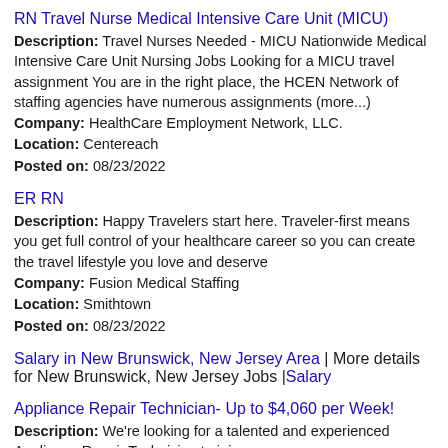RN Travel Nurse Medical Intensive Care Unit (MICU)
Description: Travel Nurses Needed - MICU Nationwide Medical Intensive Care Unit Nursing Jobs Looking for a MICU travel assignment You are in the right place, the HCEN Network of staffing agencies have numerous assignments (more...)
Company: HealthCare Employment Network, LLC.
Location: Centereach
Posted on: 08/23/2022
ER RN
Description: Happy Travelers start here. Traveler-first means you get full control of your healthcare career so you can create the travel lifestyle you love and deserve
Company: Fusion Medical Staffing
Location: Smithtown
Posted on: 08/23/2022
Salary in New Brunswick, New Jersey Area | More details for New Brunswick, New Jersey Jobs |Salary
Appliance Repair Technician- Up to $4,060 per Week!
Description: We're looking for a talented and experienced Appliance Repair Technician to join us